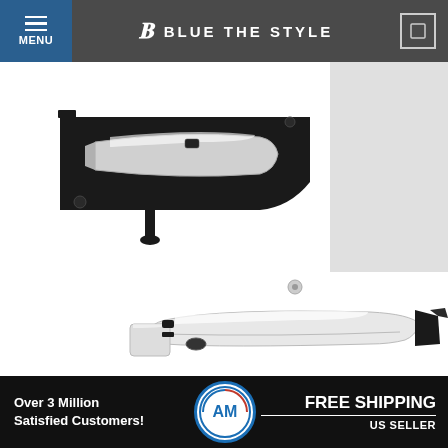MENU | BLUE THE STYLE
[Figure (photo): Interior car door handle, black housing with chrome lever, shown disassembled from above]
[Figure (photo): Exterior car door handle in chrome/white finish, shown disassembled with mounting hardware]
Over 3 Million Satisfied Customers! AM FREE SHIPPING US SELLER